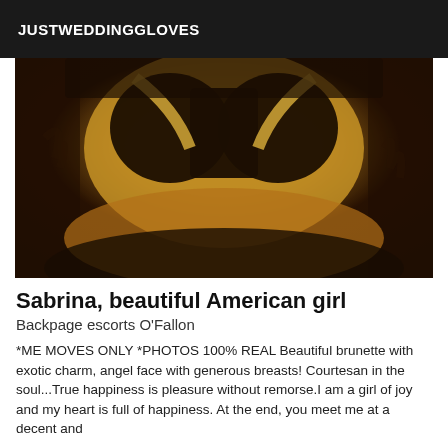JUSTWEDDINGGLOVES
[Figure (photo): Close-up photo of a person wearing a black and gold/yellow bikini lying on a zebra-print surface, shot with a warm sepia-toned filter]
Sabrina, beautiful American girl
Backpage escorts O'Fallon
*ME MOVES ONLY *PHOTOS 100% REAL Beautiful brunette with exotic charm, angel face with generous breasts! Courtesan in the soul...True happiness is pleasure without remorse.I am a girl of joy and my heart is full of happiness. At the end, you meet me at a decent and...